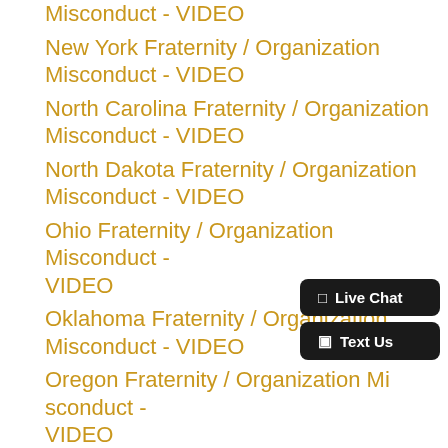Misconduct - VIDEO
New York Fraternity / Organization Misconduct - VIDEO
North Carolina Fraternity / Organization Misconduct - VIDEO
North Dakota Fraternity / Organization Misconduct - VIDEO
Ohio Fraternity / Organization Misconduct - VIDEO
Oklahoma Fraternity / Organization Misconduct - VIDEO
Oregon Fraternity / Organization Misconduct - VIDEO
Pennsylvania Fraternity / Organization Misconduct - VIDEO